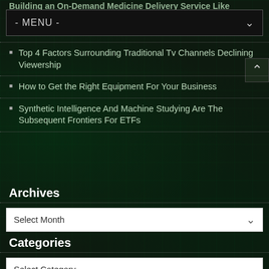Building an On-Demand Medicine Delivery Service Like
- MENU -
Top 4 Factors Surrounding Traditional Tv Channels Declining Viewership
How to Get the Right Equipment For Your Business
Synthetic Intelligence And Machine Studying Are The Subsequent Frontiers For ETFs
Archives
Select Month
Categories
Select Category